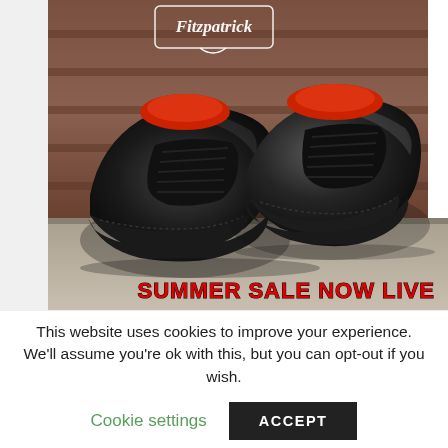[Figure (photo): Two black Oxford dress shoes with red interior shoe trees, displayed on a concrete/brick step background. A cursive brand logo in a rectangular border appears at the top center of the image. Bold red text reading 'SUMMER SALE NOW LIVE' appears at the bottom right of the image.]
This website uses cookies to improve your experience. We'll assume you're ok with this, but you can opt-out if you wish.
Cookie settings   ACCEPT